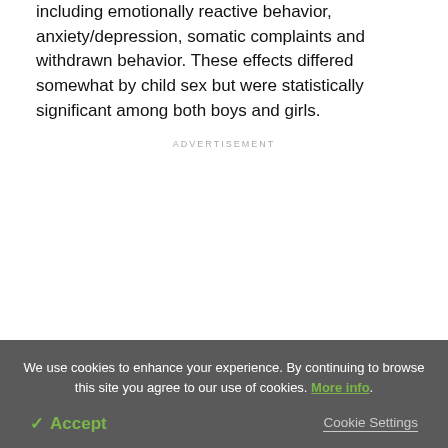including emotionally reactive behavior, anxiety/depression, somatic complaints and withdrawn behavior. These effects differed somewhat by child sex but were statistically significant among both boys and girls.
ADVERTISEMENT
We use cookies to enhance your experience. By continuing to browse this site you agree to our use of cookies. More info.
✓ Accept
Cookie Settings